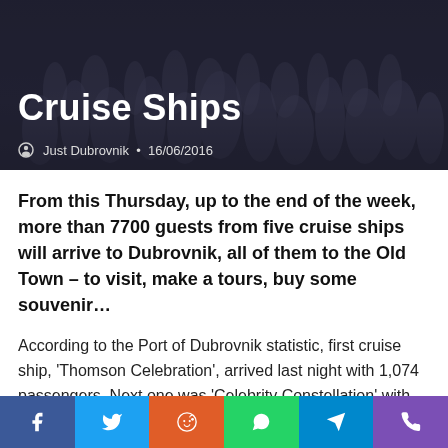Cruise Ships
Just Dubrovnik • 16/06/2016
From this Thursday, up to the end of the week, more than 7700 guests from five cruise ships will arrive to Dubrovnik, all of them to the Old Town – to visit, make a tours, buy some souvenir…
According to the Port of Dubrovnik statistic, first cruise ship, 'Thomson Celebration', arrived last night with 1,074 passengers. Next one was 'Celebrity Constellation' with 1732 guests, then 'Costa Mediterranea' with 2,278 passengers and 'Seabourn Odyssey' with 378 passengers. Phew!